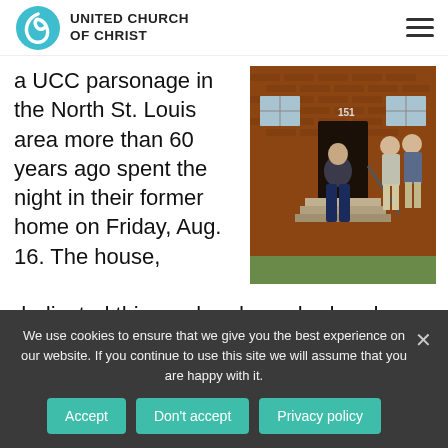UNITED CHURCH OF CHRIST
a UCC parsonage in the North St. Louis area more than 60 years ago spent the night in their former home on Friday, Aug. 16. The house, dedicated this weekend as a bed-and-breakfast,
[Figure (photo): Three men standing on the steps of a brick building with the number 151 visible. One man in overalls stands in the foreground, two men in the background.]
is the latest building on the former St.
We use cookies to ensure that we give you the best experience on our website. If you continue to use this site we will assume that you are happy with it.